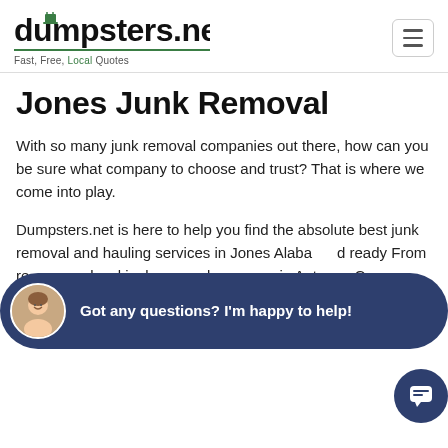dumpsters.net — Fast, Free, Local Quotes
Jones Junk Removal
With so many junk removal companies out there, how can you be sure what company to choose and trust? That is where we come into play.
Dumpsters.net is here to help you find the absolute best junk removal and hauling services in Jones, Alabama ... ready ... From re... local junk removal company in Autauga Count... help you every step of the way through the p...
[Figure (other): Chat popup overlay with avatar and text 'Got any questions? I'm happy to help!' on dark navy background, plus a chat bubble icon button in the bottom right.]